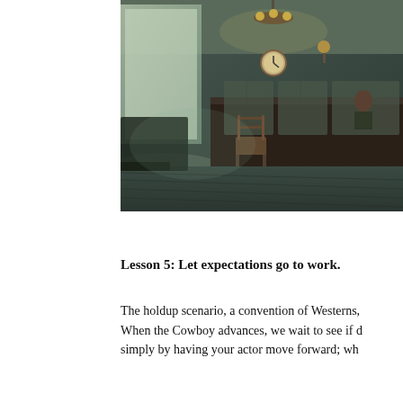[Figure (photo): Interior of an old Western-style bank or saloon room with dark wood paneling, a counter/teller area with glass panels, a chandelier with warm lights, a wooden chair in the center of the floor, large windows letting in light, and a figure visible behind the counter.]
Lesson 5: Let expectations go to work.
The holdup scenario, a convention of Westerns, When the Cowboy advances, we wait to see if d simply by having your actor move forward; wh